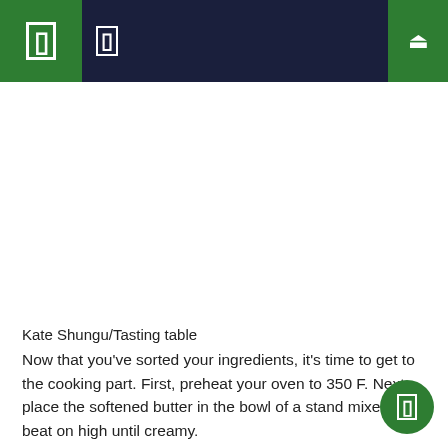[Figure (photo): Large white/empty image area below navigation header, likely a food photo placeholder]
Kate Shungu/Tasting table
Now that you've sorted your ingredients, it's time to get to the cooking part. First, preheat your oven to 350 F. Next, place the softened butter in the bowl of a stand mixer and beat on high until creamy.